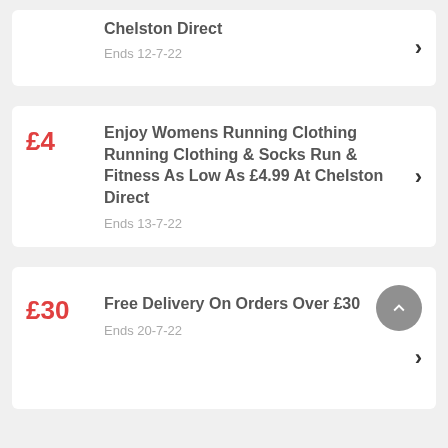Chelston Direct — Ends 12-7-22
£4 — Enjoy Womens Running Clothing Running Clothing & Socks Run & Fitness As Low As £4.99 At Chelston Direct — Ends 13-7-22
£30 — Free Delivery On Orders Over £30 — Ends 20-7-22